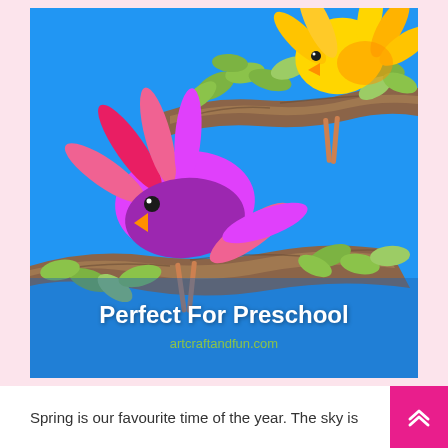[Figure (photo): A craft art project showing two handprint birds (one pink/magenta, one yellow) perched on brown crinkled paper branches with green paper leaves, all on a bright blue background. Text overlay reads 'Perfect For Preschool' and 'artcraftandfun.com']
Spring is our favourite time of the year. The sky is